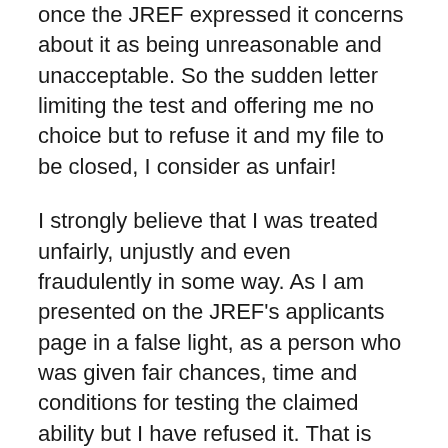once the JREF expressed it concerns about it as being unreasonable and unacceptable. So the sudden letter limiting the test and offering me no choice but to refuse it and my file to be closed, I consider as unfair!
I strongly believe that I was treated unfairly, unjustly and even fraudulently in some way. As I am presented on the JREF's applicants page in a false light, as a person who was given fair chances, time and conditions for testing the claimed ability but I have refused it. That is absolute false and lie!
There for, I would appreciate the JREF reopening my file and hold fair test or if JREF find the proposed protocol unacceptable and giving me chance to cheat or win in a fraudulent